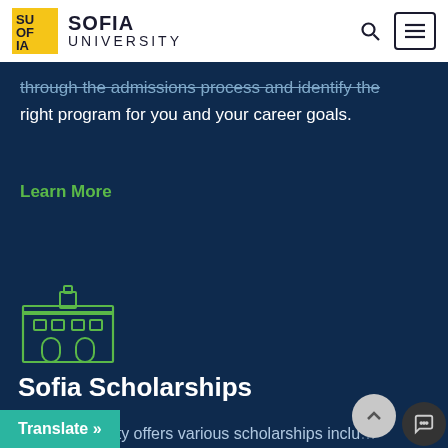[Figure (logo): Sofia University logo with yellow SU/OF/IA block and SOFIA UNIVERSITY text]
through the admissions process and identify the right program for you and your career goals.
Learn More
[Figure (illustration): Green outline icon of a university/institutional building]
Sofia Scholarships
Sofia University offers various scholarships inclu... umanity and Honoring Hero's